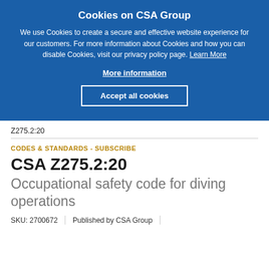Cookies on CSA Group
We use Cookies to create a secure and effective website experience for our customers. For more information about Cookies and how you can disable Cookies, visit our privacy policy page. Learn More
More information
Accept all cookies
Z275.2:20
CODES & STANDARDS - SUBSCRIBE
CSA Z275.2:20
Occupational safety code for diving operations
SKU: 2700672  |  Published by CSA Group